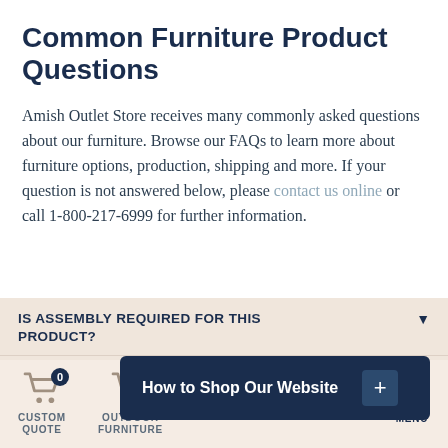Common Furniture Product Questions
Amish Outlet Store receives many commonly asked questions about our furniture. Browse our FAQs to learn more about furniture options, production, shipping and more. If your question is not answered below, please contact us online or call 1-800-217-6999 for further information.
IS ASSEMBLY REQUIRED FOR THIS PRODUCT?
How to Shop Our Website
CAN THIS PRODUCT BE CUSTOMIZED?
CUSTOM QUOTE   OUTDOOR FURNITURE   MENU